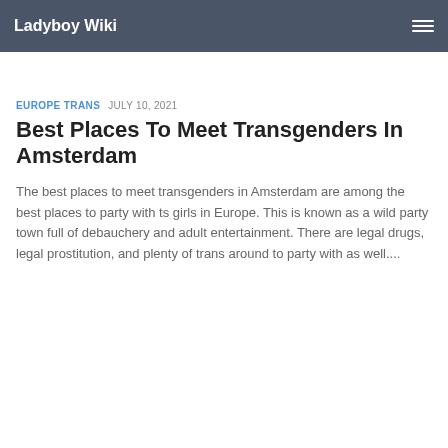Ladyboy Wiki
EUROPE TRANS  JULY 10, 2021
Best Places To Meet Transgenders In Amsterdam
The best places to meet transgenders in Amsterdam are among the best places to party with ts girls in Europe. This is known as a wild party town full of debauchery and adult entertainment. There are legal drugs, legal prostitution, and plenty of trans around to party with as well....